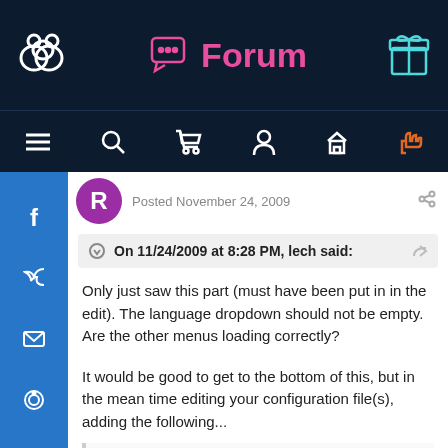[Figure (screenshot): Forum website top navigation bar with logo, Forum title in pink, and cart/user/message/hand icons on dark navy background]
[Figure (screenshot): Second navigation icon bar with hamburger menu, search, cart, user, home, and pointing hand icons in white on dark navy]
[Figure (screenshot): Left social sidebar with Facebook (f), Twitter (bird), email (envelope), and GitHub (octocat) icons in white on blue background]
Posted November 24, 2009
On 11/24/2009 at 8:28 PM, lech said:
Only just saw this part (must have been put in in the edit). The language dropdown should not be empty. Are the other menus loading correctly?
It would be good to get to the bottom of this, but in the mean time editing your configuration file(s), adding the following...
'language_id' => *